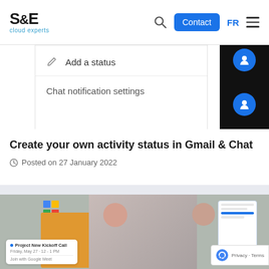S&E cloud experts — Contact | FR | menu
[Figure (screenshot): Mobile app screenshot showing menu items 'Add a status' with pencil icon and 'Chat notification settings', with a dark sidebar on the right containing blue circle icons]
Create your own activity status in Gmail & Chat
Posted on 27 January 2022
[Figure (screenshot): Partial screenshot of a Google Meet or Calendar interface showing a meeting room with people and a calendar/meeting card overlay, with reCAPTCHA badge]